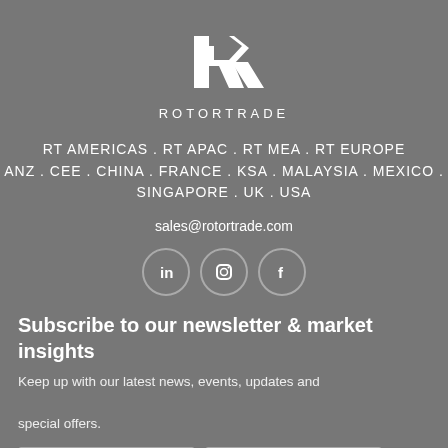[Figure (logo): RotorTrade logo: stylized white R lettermark above the text ROTORTRADE in spaced capitals]
RT AMERICAS . RT APAC . RT MEA . RT EUROPE
ANZ . CEE . CHINA . FRANCE . KSA . MALAYSIA . MEXICO .
SINGAPORE . UK . USA
sales@rotortrade.com
[Figure (illustration): Three circular social media icons: LinkedIn (in), Instagram (camera), Facebook (f)]
Subscribe to our newsletter & market insights
Keep up with our latest news, events, updates and special offers.